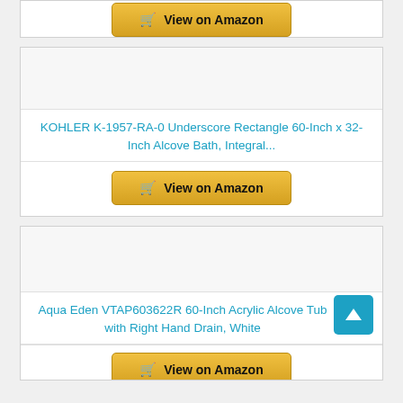[Figure (other): Partial product card top showing View on Amazon button]
KOHLER K-1957-RA-0 Underscore Rectangle 60-Inch x 32-Inch Alcove Bath, Integral...
View on Amazon
[Figure (other): Product image placeholder for Aqua Eden tub]
Aqua Eden VTAP603622R 60-Inch Acrylic Alcove Tub with Right Hand Drain, White
View on Amazon (partial)